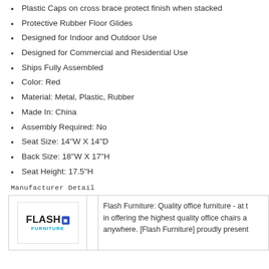Plastic Caps on cross brace protect finish when stacked
Protective Rubber Floor Glides
Designed for Indoor and Outdoor Use
Designed for Commercial and Residential Use
Ships Fully Assembled
Color: Red
Material: Metal, Plastic, Rubber
Made In: China
Assembly Required: No
Seat Size: 14''W X 14''D
Back Size: 18''W X 17''H
Seat Height: 17.5''H
Manufacturer Detail
| Logo |  | Description |
| --- | --- | --- |
| Flash Furniture logo |  | Flash Furniture: Quality office furniture - at t... in offering the highest quality office chairs a... anywhere. [Flash Furniture] proudly present... |